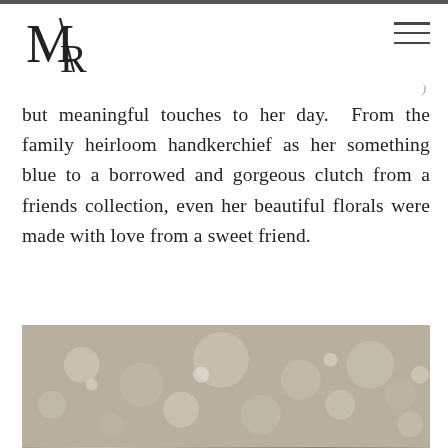[Figure (logo): MR monogram logo with stylized M and R letters]
but meaningful touches to her day. From the family heirloom handkerchief as her something blue to a borrowed and gorgeous clutch from a friends collection, even her beautiful florals were made with love from a sweet friend.
[Figure (photo): Blurred close-up photograph of what appears to be a sequined or beaded clutch/purse, shown in sepia/warm tones]